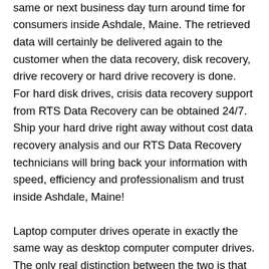average, crisis data recovery services delivers same or next business day turn around time for consumers inside Ashdale, Maine. The retrieved data will certainly be delivered again to the customer when the data recovery, disk recovery, drive recovery or hard drive recovery is done. For hard disk drives, crisis data recovery support from RTS Data Recovery can be obtained 24/7. Ship your hard drive right away without cost data recovery analysis and our RTS Data Recovery technicians will bring back your information with speed, efficiency and professionalism and trust inside Ashdale, Maine!
Laptop computer drives operate in exactly the same way as desktop computer computer drives. The only real distinction between the two is that items used in laptop computer computer drives happen to be greatly scaled-down in proportions, indicating they might be more challenging to perform data recovery, disk recovery, drive recovery or hard drive recovery